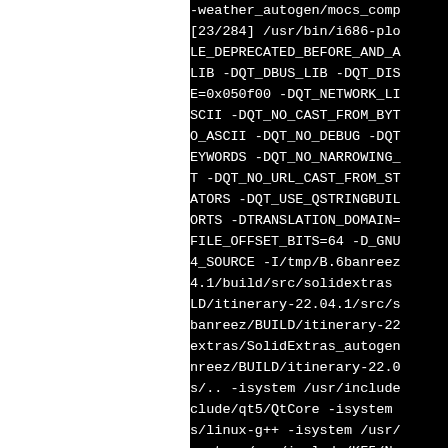-weather_autogen/mocs_comp [23/284] /usr/bin/i686-plo LE_DEPRECATED_BEFORE_AND_A LIB -DQT_DBUS_LIB -DQT_DIS E=0x050f00 -DQT_NETWORK_LI SCII -DQT_NO_CAST_FROM_BYT O_ASCII -DQT_NO_DEBUG -DQT EYWORDS -DQT_NO_NARROWING_ T -DQT_NO_URL_CAST_FROM_ST ATORS -DQT_USE_QSTRINGBUIL ORTS -DTRANSLATION_DOMAIN= FILE_OFFSET_BITS=64 -D_GNU 4_SOURCE -I/tmp/B.6banreez 4.1/build/src/solidextras LD/itinerary-22.04.1/src/s banreez/BUILD/itinerary-22 extras/SolidExtras_autogen nreez/BUILD/itinerary-22.0 s/.. -isystem /usr/include clude/qt5/QtCore -isystem s/linux-g++ -isystem /usr/ system /usr/include/KF5/Ne em /usr/include/KF5 -isyst tNetwork -isystem /usr/inc